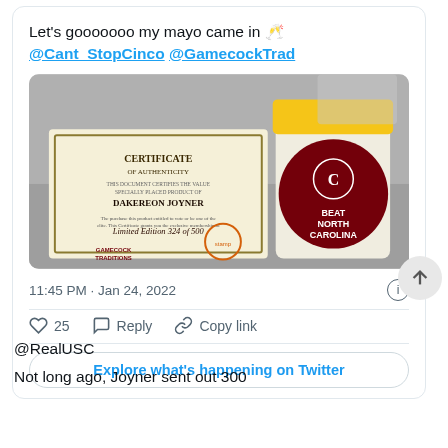Let's gooooooo my mayo came in 🥂 @Cant_StopCinco @GamecockTrad
[Figure (photo): Photo of a Certificate of Authenticity from Gamecock Traditions made out to Dakereon Joyner, Limited Edition numbered 324 of 500, next to a jar of mayo with a yellow lid and a maroon label reading 'BEAT NORTH CAROLINA']
11:45 PM · Jan 24, 2022
25  Reply  Copy link
Explore what's happening on Twitter
@RealUSC
Not long ago, Joyner sent out 300